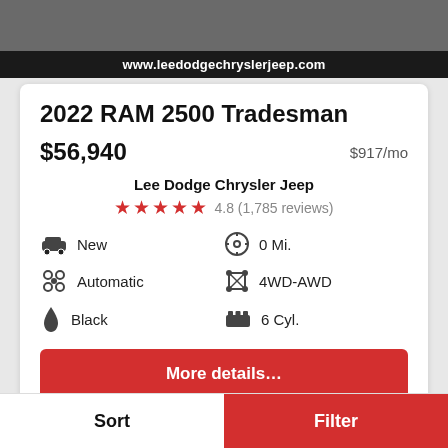[Figure (photo): Top portion of a vehicle listing page showing a partial car image and the website URL bar 'www.leedodgechryslerjeep.com']
2022 RAM 2500 Tradesman
$56,940   $917/mo
Lee Dodge Chrysler Jeep
4.8 (1,785 reviews)
New   0 Mi.
Automatic   4WD-AWD
Black   6 Cyl.
More details...
Sort   Filter